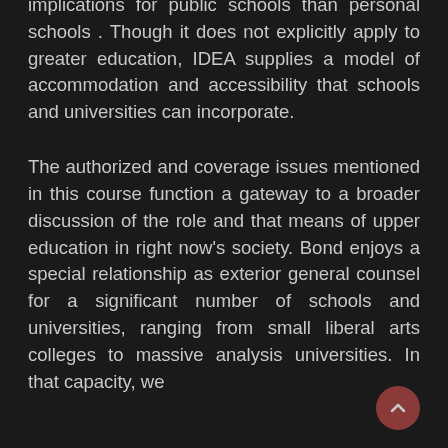implications for public schools than personal schools . Though it does not explicitly apply to greater education, IDEA supplies a model of accommodation and accessibility that schools and universities can incorporate.
The authorized and coverage issues mentioned in this course function a gateway to a broader discussion of the role and that means of upper education in right now's society. Bond enjoys a special relationship as exterior general counsel for a significant number of schools and universities, ranging from small liberal arts colleges to massive analysis universities. In that capacity, we